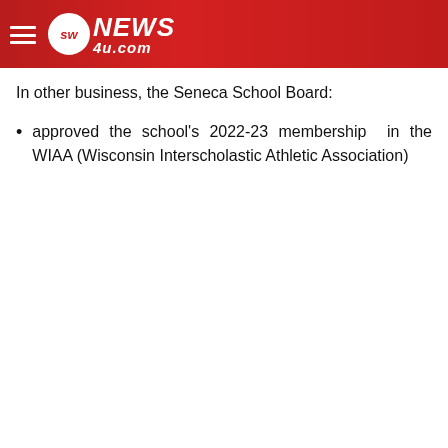SWNews4u.com
In other business, the Seneca School Board:
approved the school's 2022-23 membership in the WIAA (Wisconsin Interscholastic Athletic Association)